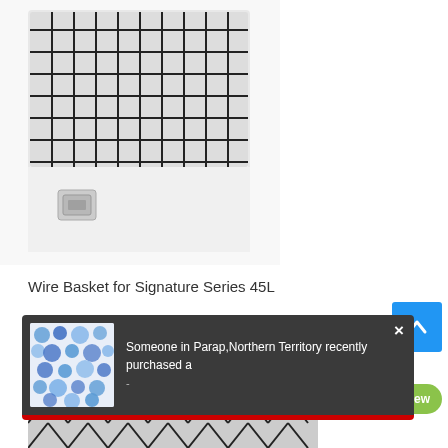[Figure (photo): Close-up photograph of a white wire basket with black metal grid on top and a silver latch/handle on the side. The basket appears to be for a cooler or similar storage unit.]
Wire Basket for Signature Series 45L
[Figure (photo): Notification popup with dark background showing a thumbnail image of blue and white patterned fabric/item. Text reads: 'Someone in Parap, Northern Territory recently purchased a'. There is a close (×) button in the top right. A red bar appears at the bottom of the popup.]
[Figure (screenshot): Blue scroll-to-top button with upward chevron arrow icon, positioned on the right side of the page.]
[Figure (screenshot): Green rounded chat button with speech bubble icon and '1 new' text, positioned at the bottom right.]
[Figure (photo): Partial view of a wire basket (diamond pattern) at the bottom of the page.]